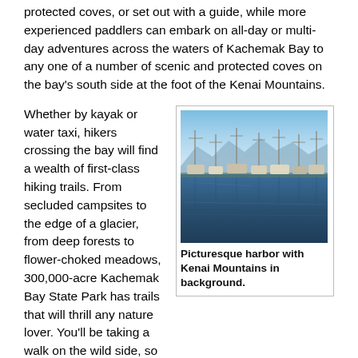protected coves, or set out with a guide, while more experienced paddlers can embark on all-day or multi-day adventures across the waters of Kachemak Bay to any one of a number of scenic and protected coves on the bay's south side at the foot of the Kenai Mountains.
Whether by kayak or water taxi, hikers crossing the bay will find a wealth of first-class hiking trails. From secluded campsites to the edge of a glacier, from deep forests to flower-choked meadows, 300,000-acre Kachemak Bay State Park has trails that will thrill any nature lover. You'll be taking a walk on the wild side, so plan accordingly and bring your best camera. Bald eagles are a dime a dozen on the Kenai Peninsula, which is also home to moose, bear, and hundreds of species of birds. The bay itself hosts humpback, beluga, and killer whales as well as otters and sea lions.
[Figure (photo): Picturesque harbor with many boat masts reflected in calm water, mountains visible in the background under a blue sky.]
Picturesque harbor with Kenai Mountains in background.
The Community
As for people, Homer is home to about 4,000. I found the